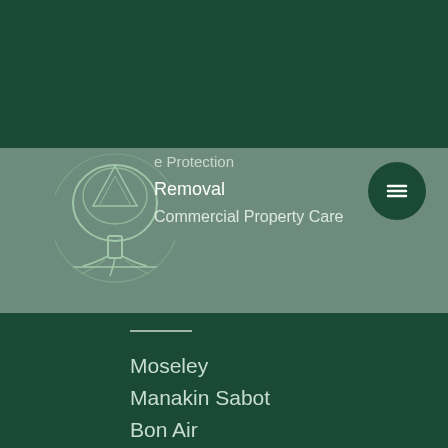[Figure (logo): Tree illustration logo with roots, dark green and outlined style]
e Protection
Removal
Commercial Property Care
Moseley
Manakin Sabot
Bon Air
Goochland
Powhatan
Glen Allen
Mechanicsville
Richmond